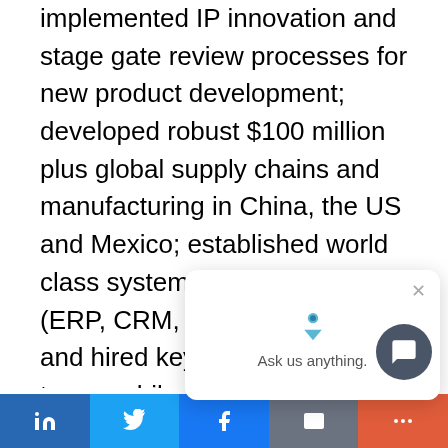implemented IP innovation and stage gate review processes for new product development; developed robust $100 million plus global supply chains and manufacturing in China, the US and Mexico; established world class systems and controls (ERP, CRM, SOX); identified and hired key management teams while managing multiple order of magnitude increases in headcount; launched social media and marketing campaigns; initiated utility rebates and incentives for electric motor and advanced technologies in the HVAC and refrigeration, power generation, automation, consumer, and
[Figure (other): Chat widget overlay with logo icon and 'Ask us anything.' text, with close button]
[Figure (other): Social sharing bar with LinkedIn, Twitter, Facebook, Email, and more buttons]